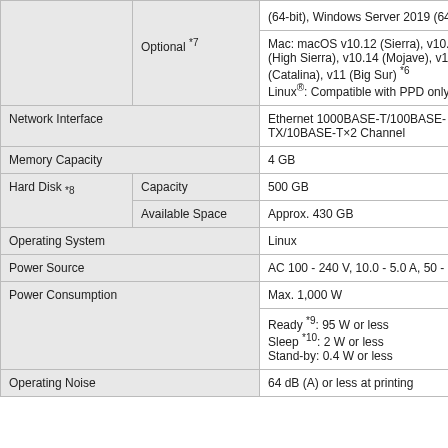|  |  | (64-bit), Windows Server 2019 (64-bit)*6 |
|  | Optional *7 | Mac: macOS v10.12 (Sierra), v10.13 (High Sierra), v10.14 (Mojave), v10.15 (Catalina), v11 (Big Sur) *6
Linux®: Compatible with PPD only |
| Network Interface |  | Ethernet 1000BASE-T/100BASE-TX/10BASE-T×2 Channel |
| Memory Capacity |  | 4 GB |
| Hard Disk *8 | Capacity | 500 GB |
| Hard Disk *8 | Available Space | Approx. 430 GB |
| Operating System |  | Linux |
| Power Source |  | AC 100 - 240 V, 10.0 - 5.0 A, 50 - 60 Hz |
| Power Consumption |  | Max. 1,000 W |
|  |  | Ready *9: 95 W or less
Sleep *10: 2 W or less
Stand-by: 0.4 W or less |
| Operating Noise |  | 64 dB (A) or less at printing |